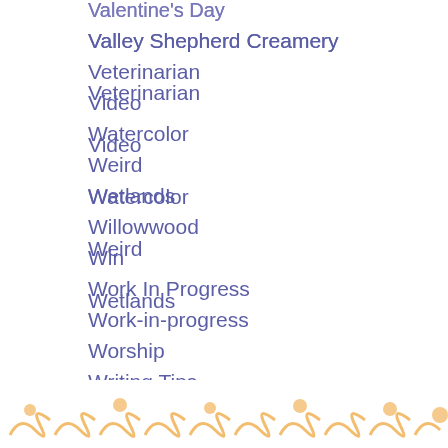Valentine's Day
Valley Shepherd Creamery
Veterinarian
Video
Watercolor
Weird
Wetlands
Willowwood
Win
Work In Progress
Work-in-progress
Worship
Writing Tips
Zoo
RSS Feed
2022 © Kathleen Rupff  All rights reserved.
[Figure (illustration): Decorative orange swirl pattern at bottom of page]